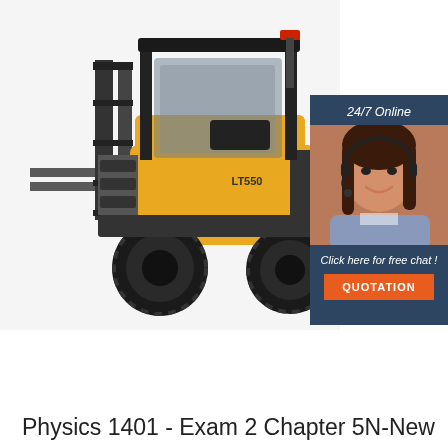[Figure (photo): A yellow forklift (model LT550) photographed against a white/industrial background, with a dark blue advertisement overlay in the top-right corner showing a customer service representative wearing a headset, text '24/7 Online', 'Click here for free chat!', and an orange 'QUOTATION' button.]
Physics 1401 - Exam 2 Chapter 5N-New